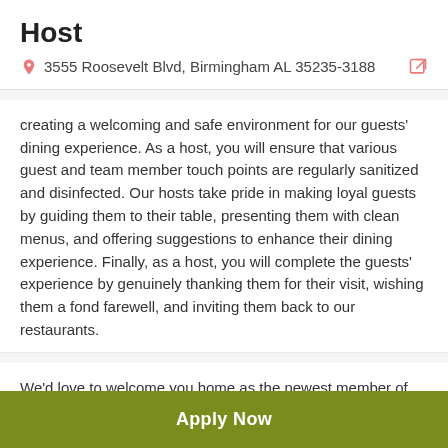Host
3555 Roosevelt Blvd, Birmingham AL 35235-3188
creating a welcoming and safe environment for our guests' dining experience. As a host, you will ensure that various guest and team member touch points are regularly sanitized and disinfected. Our hosts take pride in making loyal guests by guiding them to their table, presenting them with clean menus, and offering suggestions to enhance their dining experience. Finally, as a host, you will complete the guests' experience by genuinely thanking them for their visit, wishing them a fond farewell, and inviting them back to our restaurants.
We'd love to welcome you home as the newest member of the Family!
#MyOliveGardenFam
Apply Now